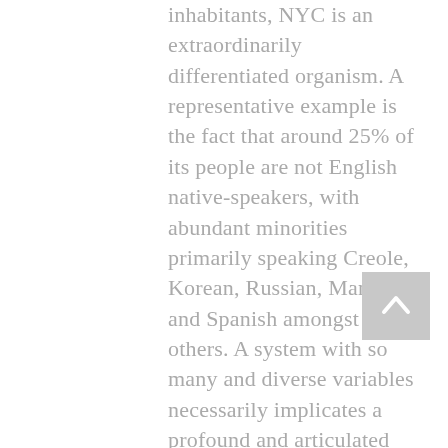inhabitants, NYC is an extraordinarily differentiated organism. A representative example is the fact that around 25% of its people are not English native-speakers, with abundant minorities primarily speaking Creole, Korean, Russian, Mandarin and Spanish amongst others. A system with so many and diverse variables necessarily implicates a profound and articulated multiplicity. As Lolita firmly asserted, with a society with a widening social gap, a proper resiliency plan must take into account the condition and necessities of the unfortunate. In this way, on the one hand the city is engaged in the fight to reduce citizens' carbon footprint and on the other hand action is taken to make the Big Apple a